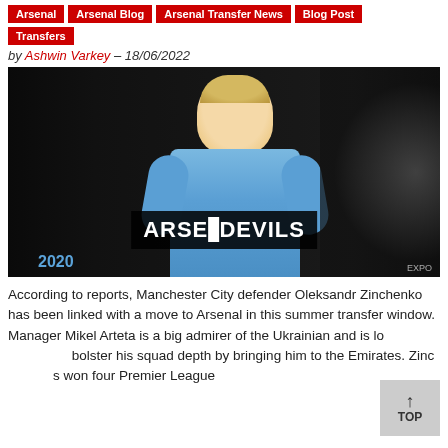Arsenal
Arsenal Blog
Arsenal Transfer News
Blog Post
Transfers
by Ashwin Varkey – 18/06/2022
[Figure (photo): Photo of Manchester City defender Oleksandr Zinchenko in a light blue kit, with an ARSE DEVILS watermark overlay at the bottom of the image]
According to reports, Manchester City defender Oleksandr Zinchenko has been linked with a move to Arsenal in this summer transfer window. Manager Mikel Arteta is a big admirer of the Ukrainian and is looking to bolster his squad depth by bringing him to the Emirates. Zinchenko has won four Premier League